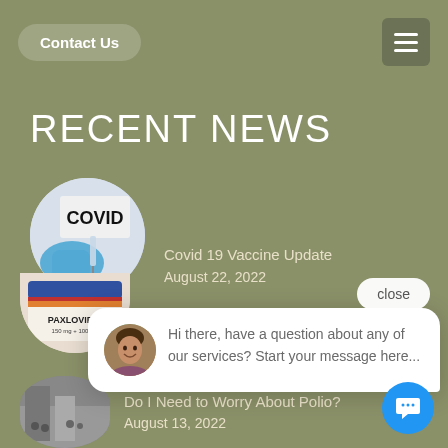Contact Us
RECENT NEWS
[Figure (photo): Circular photo of a COVID vaccine label and a blue-gloved hand holding a syringe]
Covid 19 Vaccine Update
August 22, 2022
close
[Figure (photo): Chat popup with avatar of a woman smiling and message text]
Hi there, have a question about any of our services? Start your message here...
[Figure (photo): Circular photo of Paxlovid medication box]
Do I Need to Worry About Polio?
August 13, 2022
[Figure (photo): Circular black-and-white photo related to polio]